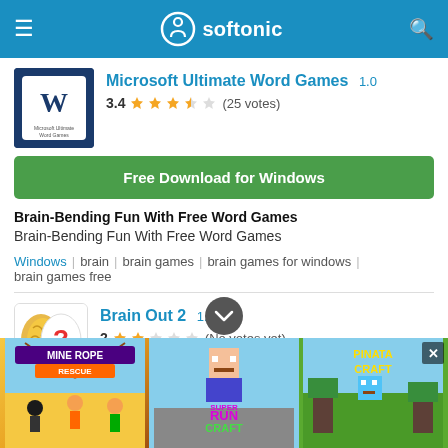softonic
Microsoft Ultimate Word Games 1.0
3.4 ★★★★☆ (25 votes)
Free Download for Windows
Brain-Bending Fun With Free Word Games
Brain-Bending Fun With Free Word Games
Windows | brain | brain games | brain games for windows | brain games free
Brain Out 2 1.0
2 ★★☆☆☆ (No votes yet)
[Figure (screenshot): Advertisement banner showing Mine Rope Rescue, Super Run Craft, and Pinata Craft games]